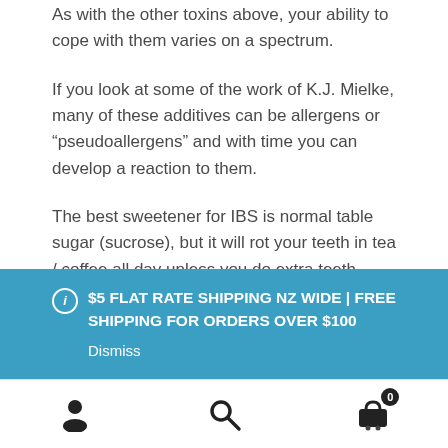As with the other toxins above, your ability to cope with them varies on a spectrum.
If you look at some of the work of K.J. Mielke, many of these additives can be allergens or “pseudoallergens” and with time you can develop a reaction to them.
The best sweetener for IBS is normal table sugar (sucrose), but it will rot your teeth in tea / coffee all day unless you do extra teeth cleaning.
Ideally you should...
$5 FLAT RATE SHIPPING NZ WIDE | FREE SHIPPING FOR ORDERS OVER $100
Dismiss